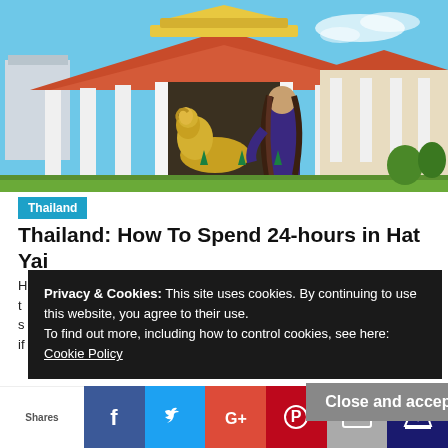[Figure (photo): A woman with long hair wearing a purple top stands before a large Thai Buddhist temple with white columns, an ornate roof, and a reclining Buddha statue visible inside. Blue sky in background.]
Thailand
Thailand: How To Spend 24-hours in Hat Yai
H... t... s... if...
Privacy & Cookies: This site uses cookies. By continuing to use this website, you agree to their use.
To find out more, including how to control cookies, see here:
Cookie Policy
Close and accept
Shares